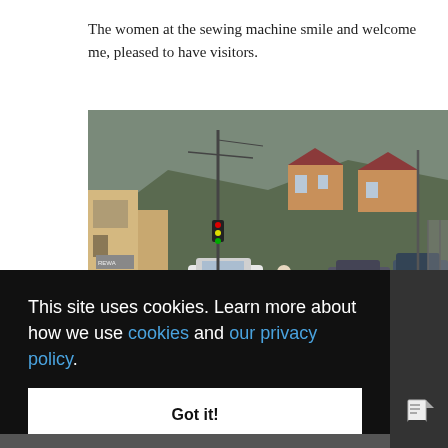The women at the sewing machine smile and welcome me, pleased to have visitors.
[Figure (photo): Street scene of a small Balkan or Eastern European village with houses on a hillside, utility poles, parked cars and SUVs on a dirt road, and a person walking in the middle of the street.]
This site uses cookies. Learn more about how we use cookies and our privacy policy.
Got it!